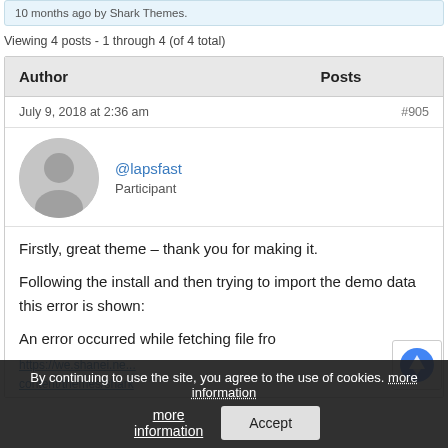10 months ago by Shark Themes.
Viewing 4 posts - 1 through 4 (of 4 total)
| Author | Posts |
| --- | --- |
| July 9, 2018 at 2:36 am | #905 |
| @lapsfast Participant |  |
| Firstly, great theme – thank you for making it.

Following the install and then trying to import the demo data this error is shown:

An error occurred while fetching file fro... |  |
By continuing to use the site, you agree to the use of cookies. more information
https://we.shanei.nc...content/themes/shark...